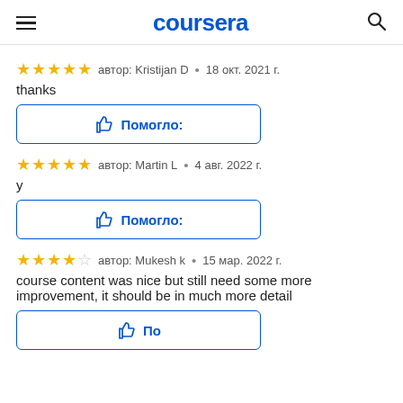coursera
автор: Kristijan D · 18 окт. 2021 г.
thanks
👍 Помогло:
автор: Martin L · 4 авг. 2022 г.
у
👍 Помогло:
автор: Mukesh k · 15 мар. 2022 г.
course content was nice but still need some more improvement, it should be in much more detail
👍 Помо…